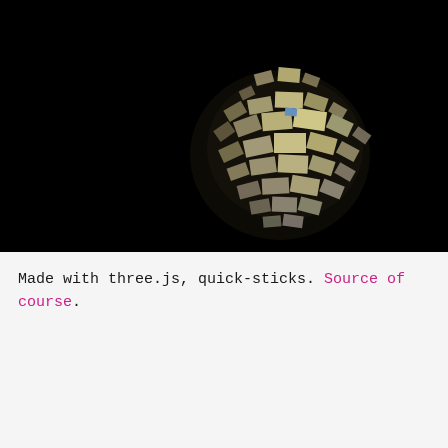[Figure (screenshot): Dark/black background with a 3D rendered spherical cluster of textured tile-like fragments arranged in a globe shape, lit from within, appearing in the center-right area of the black canvas. The cluster is composed of yellowish-beige and multicolored rectangular pieces arranged in a three-dimensional sphere formation using three.js.]
Made with three.js, quick-sticks. Source of course.